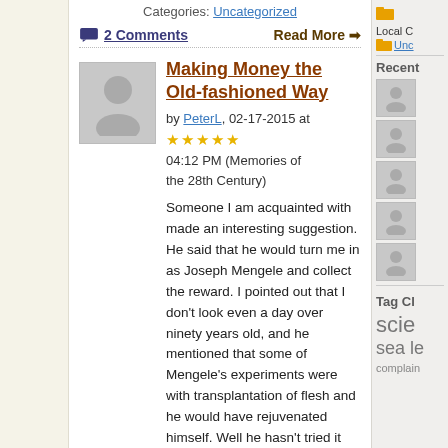Categories: Uncategorized
2 Comments   Read More →
Making Money the Old-fashioned Way
by PeterL, 02-17-2015 at 04:12 PM (Memories of the 28th Century) ★★★★★
Someone I am acquainted with made an interesting suggestion. He said that he would turn me in as Joseph Mengele and collect the reward. I pointed out that I don't look even a day over ninety years old, and he mentioned that some of Mengele's experiments were with transplantation of flesh and he would have rejuvenated himself. Well he hasn't tried it yet, so I looked up Mengele and learned that the body of a drowned man was identified as Mengele. I don't know if they used DNA at the time, but there ...
Updated 02-17-2015 at 04:15 PM by
Local C
Unc
Recent
Tag Cl